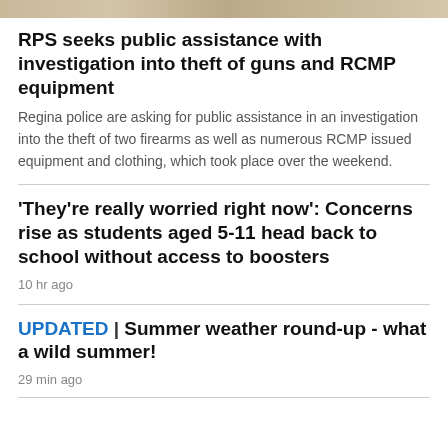[Figure (photo): Top banner image, partially visible, brownish/tan tones]
RPS seeks public assistance with investigation into theft of guns and RCMP equipment
Regina police are asking for public assistance in an investigation into the theft of two firearms as well as numerous RCMP issued equipment and clothing, which took place over the weekend.
'They're really worried right now': Concerns rise as students aged 5-11 head back to school without access to boosters
10 hr ago
UPDATED | Summer weather round-up - what a wild summer!
29 min ago